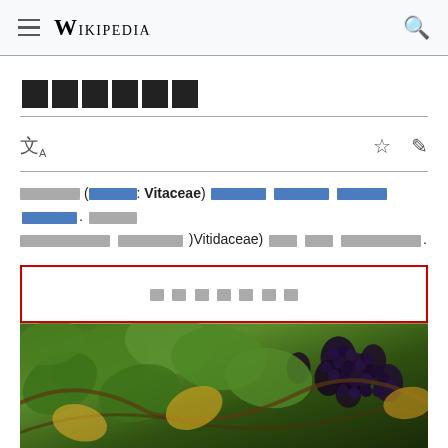Wikipedia
[placeholder text in non-Latin script]
[Body text in non-Latin script referencing Vitaceae and Vitidaceae]
[TOC placeholder in non-Latin script]
[Figure (photo): Photo of grapevines with dark grape clusters and green leaves]